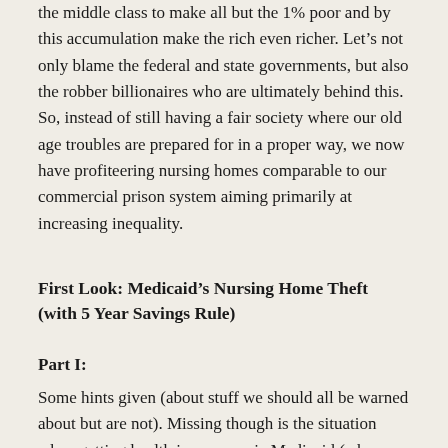the middle class to make all but the 1% poor and by this accumulation make the rich even richer. Let's not only blame the federal and state governments, but also the robber billionaires who are ultimately behind this. So, instead of still having a fair society where our old age troubles are prepared for in a proper way, we now have profiteering nursing homes comparable to our commercial prison system aiming primarily at increasing inequality.
First Look: Medicaid's Nursing Home Theft (with 5 Year Savings Rule)
Part I:
Some hints given (about stuff we should all be warned about but are not). Missing though is the situation when getting health insurance via Medicaid (when